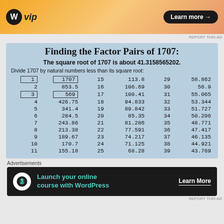[Figure (other): WordPress VIP advertisement banner with orange gradient background, WP logo, and Learn more button]
Finding the Factor Pairs of 1707:
The square root of 1707 is about 41.3158565202.
Divide 1707 by natural numbers less than its square root:
| n | 1707/n | n | 1707/n | n | 1707/n |
| --- | --- | --- | --- | --- | --- |
| 1 | 1707 | 15 | 113.8 | 29 | 58.862 |
| 2 | 853.5 | 16 | 106.69 | 30 | 56.9 |
| 3 | 569 | 17 | 100.41 | 31 | 55.065 |
| 4 | 426.75 | 18 | 94.833 | 32 | 53.344 |
| 5 | 341.4 | 19 | 89.842 | 33 | 51.727 |
| 6 | 284.5 | 20 | 85.35 | 34 | 50.206 |
| 7 | 243.86 | 21 | 81.286 | 35 | 48.771 |
| 8 | 213.38 | 22 | 77.591 | 36 | 47.417 |
| 9 | 189.67 | 23 | 74.217 | 37 | 46.135 |
| 10 | 170.7 | 24 | 71.125 | 38 | 44.921 |
| 11 | 155.18 | 25 | 68.28 | 39 | 43.769 |
[Figure (other): WordPress online course advertisement with dark background and teal text]